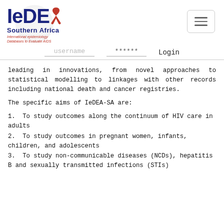[Figure (logo): IeDEA Southern Africa logo with red ribbon, map of Africa outline, and tagline 'International epidemiology Databases to Evaluate AIDS']
username  ******  Login
leading in innovations, from novel approaches to statistical modelling to linkages with other records including national death and cancer registries.
The specific aims of IeDEA-SA are:
1. To study outcomes along the continuum of HIV care in adults
2. To study outcomes in pregnant women, infants, children, and adolescents
3. To study non-communicable diseases (NCDs), hepatitis B and sexually transmitted infections (STIs)